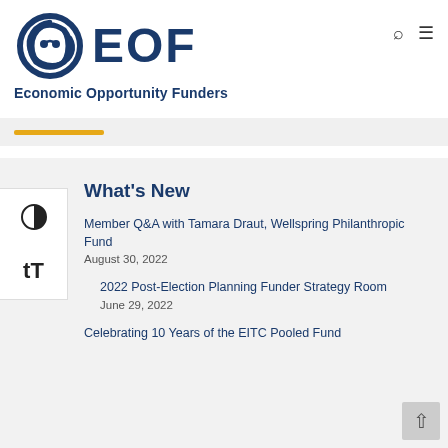[Figure (logo): EOF Economic Opportunity Funders logo with circular swoosh icon in dark blue and 'EOF' text in large dark blue letters, with 'Economic Opportunity Funders' tagline below]
What's New
Member Q&A with Tamara Draut, Wellspring Philanthropic Fund
August 30, 2022
2022 Post-Election Planning Funder Strategy Room
June 29, 2022
Celebrating 10 Years of the EITC Pooled Fund